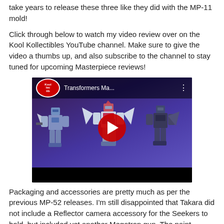take years to release these three like they did with the MP-11 mold!
Click through below to watch my video review over on the Kool Kollectibles YouTube channel. Make sure to give the video a thumbs up, and also subscribe to the channel to stay tuned for upcoming Masterpiece reviews!
[Figure (screenshot): YouTube video thumbnail showing 'Transformers Ma...' with the Kool Kollectibles logo, three Transformer robot figures (Seekers) posed on a purple background, and a red YouTube play button in the center.]
Packaging and accessories are pretty much as per the previous MP-52 releases. I'm still disappointed that Takara did not include a Reflector camera accessory for the Seekers to hold, but included yet another Megatron gun. The paint...